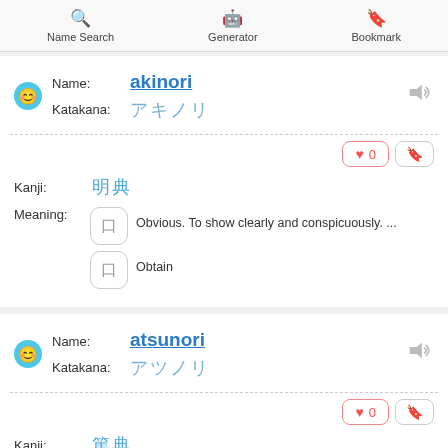Name Search | Generator | Bookmark
Name: akinori
Katakana: アキノリ
Kanji: 昭典
Meaning: Obvious. To show clearly and conspicuously. ... / Obtain
Name: atsunori
Katakana: アツノリ
Kanji: 篤典